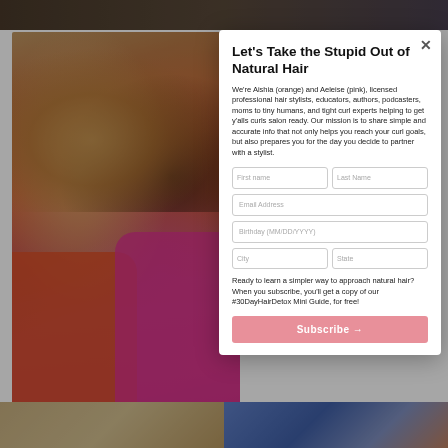[Figure (photo): Background showing two women with natural hair, one in orange outfit and one in pink outfit, with modal dialog overlay. Bottom strip shows additional photos.]
Let's Take the Stupid Out of Natural Hair
We're Aishia (orange) and Aeleise (pink), licensed professional hair stylists, educators, authors, podcasters, moms to tiny humans, and tight curl experts helping to get y'alls curls salon ready. Our mission is to share simple and accurate info that not only helps you reach your curl goals, but also prepares you for the day you decide to partner with a stylist.
Ready to learn a simpler way to approach natural hair? When you subscribe, you'll get a copy of our #30DayHairDetox Mini Guide, for free!